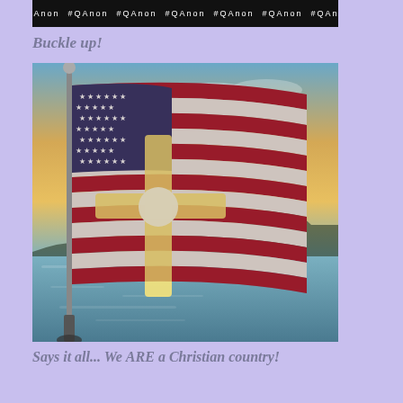[Figure (screenshot): Dark banner image with repeating #QAnon hashtag text in white on black background]
Buckle up!
[Figure (photo): An American flag backlit by a bright sunset over water, with a cross-shaped light shining through the flag's fabric, creating a glowing cross silhouette in the center of the flag.]
Says it all... We ARE a Christian country!